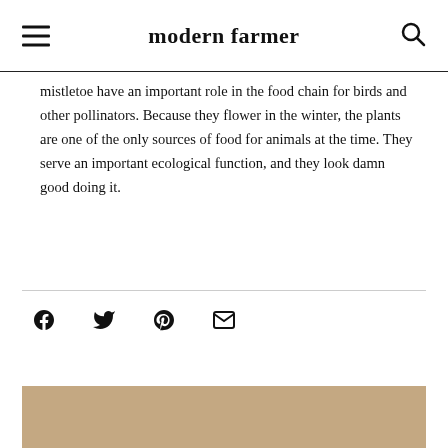modern farmer
mistletoe have an important role in the food chain for birds and other pollinators. Because they flower in the winter, the plants are one of the only sources of food for animals at the time. They serve an important ecological function, and they look damn good doing it.
[Figure (other): Social sharing icons: Facebook, Twitter, Pinterest, Email]
[Figure (photo): Bottom portion of a photo with a tan/brown background, partially visible]